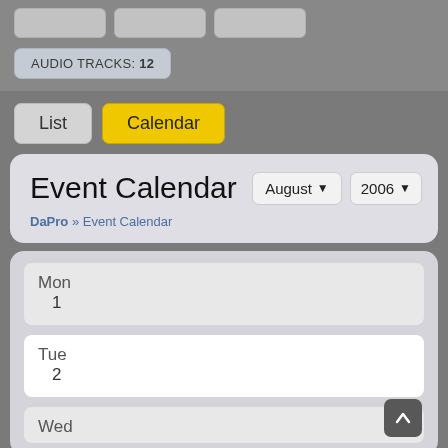AUDIO TRACKS: 12
List
Calendar
Event Calendar
August 2006
DaPro » Event Calendar
Mon
1
Tue
2
Wed